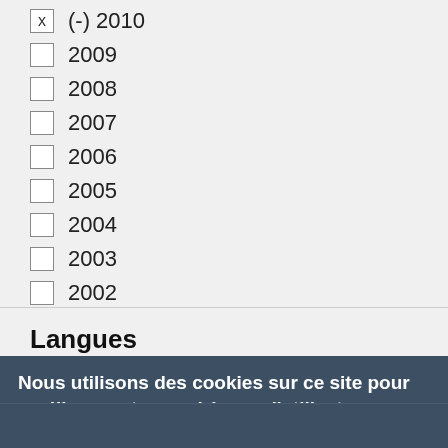(x) (-) 2010
2009
2008
2007
2006
2005
2004
2003
2002
Langues
Nous utilisons des cookies sur ce site pour améliorer votre expérience d'utilisateur.
En cliquant sur un lien de cette page, vous nous donnez votre consentement de définir des cookies.